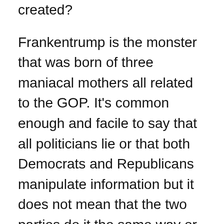created?
Frankentrump is the monster that was born of three maniacal mothers all related to the GOP. It's common enough and facile to say that all politicians lie or that both Democrats and Republicans manipulate information but it does not mean that the two parties do it the same way or have equal skill. The Republicans are far more skilled at lying than the Democrats and they have now created this beast slouching toward the presidency.
Frankentrump's three mothers are (a) the Republican reality bubble created by their own system of media ownership and think tanks, (b) the era of “post-truth politics,” and (c) new media. You can read more about Trump and the media here.
(a). It’s fairly common knowledge that in the last decades